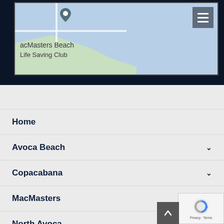[Figure (map): Google Maps screenshot showing a location pin over MacMasters Beach Surf Life Saving Club area, with water (blue) and land (green) visible]
Home
Avoca Beach
Copacabana
MacMasters
North Avoca
Useful Links